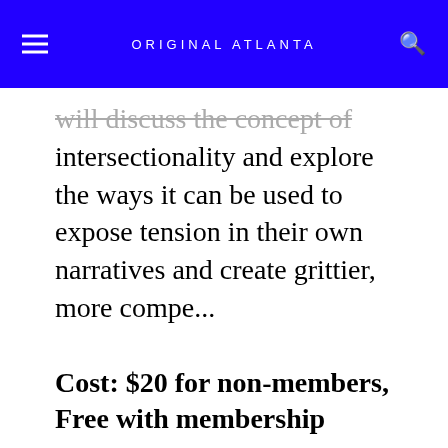ORIGINAL ATLANTA
will discuss the concept of intersectionality and explore the ways it can be used to expose tension in their own narratives and create grittier, more compe...
Cost: $20 for non-members, Free with membership
[click here for more]